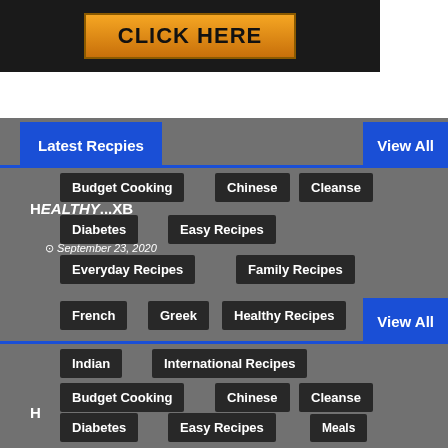[Figure (other): Dark banner with CLICK HERE button in orange/yellow gradient style]
Latest Recpies
View All
Budget Cooking
Chinese
Cleanse
Diabetes
Easy Recipes
Everyday Recipes
Family Recipes
Healthy...XB
September 23, 2020
View All
French
Greek
Healthy Recipes
Indian
International Recipes
Budget Cooking
Chinese
Cleanse
Diabetes
Easy Recipes
Meals
Everyday Recipes
Family Recipes
French
Greek
Healthy Recipes